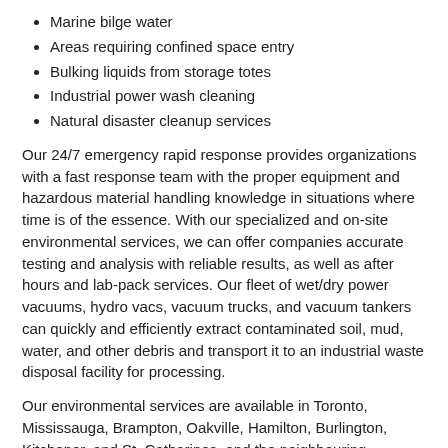Marine bilge water
Areas requiring confined space entry
Bulking liquids from storage totes
Industrial power wash cleaning
Natural disaster cleanup services
Our 24/7 emergency rapid response provides organizations with a fast response team with the proper equipment and hazardous material handling knowledge in situations where time is of the essence. With our specialized and on-site environmental services, we can offer companies accurate testing and analysis with reliable results, as well as after hours and lab-pack services. Our fleet of wet/dry power vacuums, hydro vacs, vacuum trucks, and vacuum tankers can quickly and efficiently extract contaminated soil, mud, water, and other debris and transport it to an industrial waste disposal facility for processing.
Our environmental services are available in Toronto, Mississauga, Brampton, Oakville, Hamilton, Burlington, Kitchener, and St. Catharines, and the neighbouring communities. Contact Tesla Environmental today for a complimentary estimate on industrial waste disposal or any of our professional environmental services.